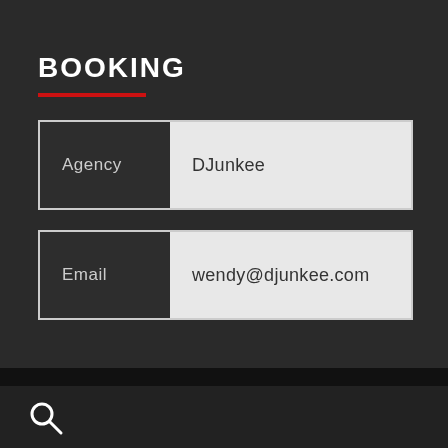BOOKING
| Field | Value |
| --- | --- |
| Agency | DJunkee |
| Email | wendy@djunkee.com |
[Figure (other): Search magnifying glass icon in bottom left corner]